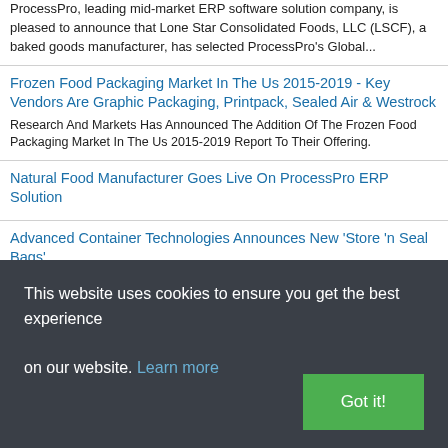ProcessPro, leading mid-market ERP software solution company, is pleased to announce that Lone Star Consolidated Foods, LLC (LSCF), a baked goods manufacturer, has selected ProcessPro's Global...
Frozen Food Packaging Market In The Us 2015-2019 - Key Vendors Are Graphic Packaging, Printpack, Sealed Air & Westrock
Research And Markets Has Announced The Addition Of The Frozen Food Packaging Market In The Us 2015-2019 Report To Their Offering.
Natural Food Manufacturer Goes Live On ProcessPro ERP Solution
Advanced Container Technologies Announces New 'Store 'n Seal Bags'
Rapak Selects ReposiTrak For Supplier Compliance And Risk
This website uses cookies to ensure you get the best experience on our website. Learn more
Got it!